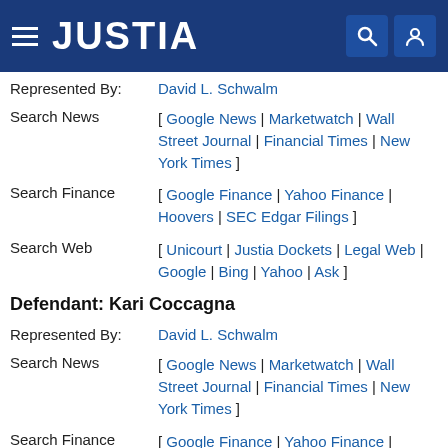JUSTIA
Represented By: David L. Schwalm
Search News [ Google News | Marketwatch | Wall Street Journal | Financial Times | New York Times ]
Search Finance [ Google Finance | Yahoo Finance | Hoovers | SEC Edgar Filings ]
Search Web [ Unicourt | Justia Dockets | Legal Web | Google | Bing | Yahoo | Ask ]
Defendant: Kari Coccagna
Represented By: David L. Schwalm
Search News [ Google News | Marketwatch | Wall Street Journal | Financial Times | New York Times ]
Search Finance [ Google Finance | Yahoo Finance | Hoovers | SEC Edgar Filings ]